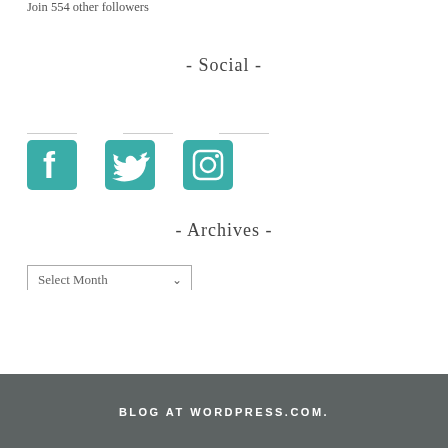Join 554 other followers
- Social -
[Figure (illustration): Three teal social media icons: Facebook, Twitter, Instagram]
- Archives -
Select Month
BLOG AT WORDPRESS.COM.